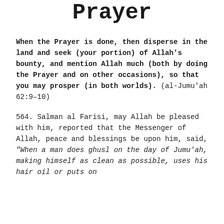The Jumu'ah Prayer
When the Prayer is done, then disperse in the land and seek (your portion) of Allah's bounty, and mention Allah much (both by doing the Prayer and on other occasions), so that you may prosper (in both worlds). (al-Jumu'ah 62:9–10)
564. Salman al Farisi, may Allah be pleased with him, reported that the Messenger of Allah, peace and blessings be upon him, said, "When a man does ghusl on the day of Jumu'ah, making himself as clean as possible, uses his hair oil or puts on